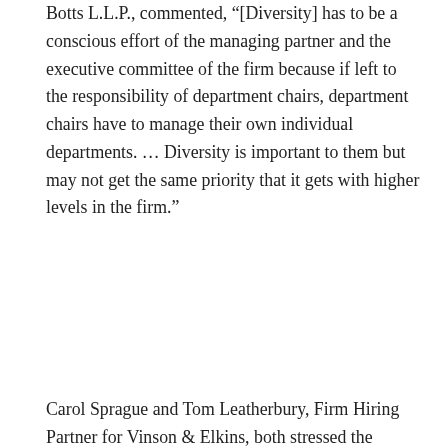Botts L.L.P., commented, “[Diversity] has to be a conscious effort of the managing partner and the executive committee of the firm because if left to the responsibility of department chairs, department chairs have to manage their own individual departments. … Diversity is important to them but may not get the same priority that it gets with higher levels in the firm.”
Carol Sprague and Tom Leatherbury, Firm Hiring Partner for Vinson & Elkins, both stressed the client-driven demand
[Figure (screenshot): Cookie consent overlay with dark background. Orange 'Got It' button at top. Text reads: 'This website uses cookies to ensure you get the best experience on our website.' with a 'Learn more' underlined link below.]
deeper and harder to get at, so I'm thrilled about that kind of change...